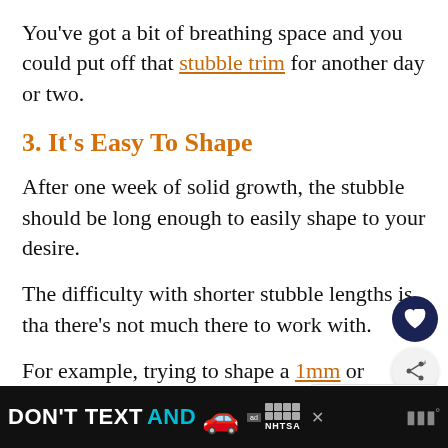You’ve got a bit of breathing space and you could put off that stubble trim for another day or two.
3. It’s Easy To Shape
After one week of solid growth, the stubble should be long enough to easily shape to your desire.
The difficulty with shorter stubble lengths is that there’s not much there to work with.
For example, trying to shape a 1mm or stubble beard is often difficult because it isn’t
[Figure (screenshot): Ad banner at bottom: DON'T TEXT AND [car emoji] with NHTSA logo]
[Figure (infographic): What's Next callout: How To Get The Best 10...]